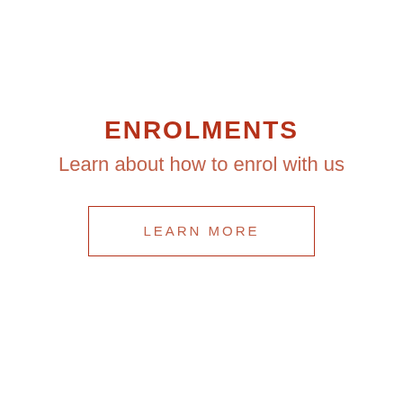ENROLMENTS
Learn about how to enrol with us
LEARN MORE